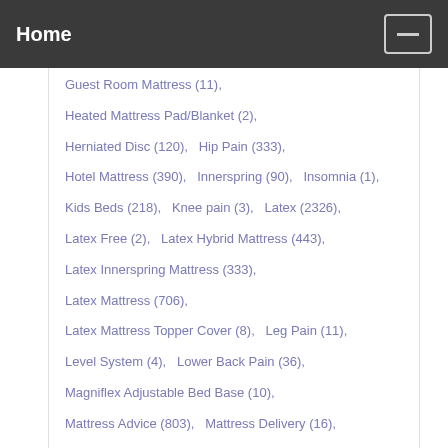Home
Guest Room Mattress (11),
Heated Mattress Pad/Blanket (2),
Herniated Disc (120),  Hip Pain (333),
Hotel Mattress (390),  Innerspring (90),  Insomnia (1),
Kids Beds (218),  Knee pain (3),  Latex (2326),
Latex Free (2),  Latex Hybrid Mattress (443),
Latex Innerspring Mattress (333),
Latex Mattress (706),
Latex Mattress Topper Cover (8),  Leg Pain (11),
Level System (4),  Lower Back Pain (36),
Magniflex Adjustable Bed Base (10),
Mattress Advice (803),  Mattress Delivery (16),
Mattress Foundation (9),  Mattress Protector (386),
Mattress Removal (2),  Mattress Sizes (2),